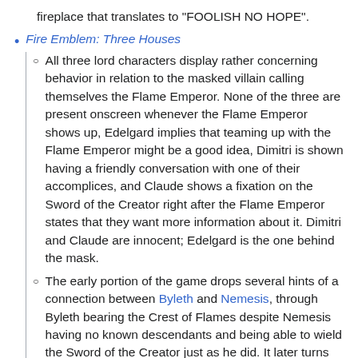fireplace that translates to "FOOLISH NO HOPE".
Fire Emblem: Three Houses
All three lord characters display rather concerning behavior in relation to the masked villain calling themselves the Flame Emperor. None of the three are present onscreen whenever the Flame Emperor shows up, Edelgard implies that teaming up with the Flame Emperor might be a good idea, Dimitri is shown having a friendly conversation with one of their accomplices, and Claude shows a fixation on the Sword of the Creator right after the Flame Emperor states that they want more information about it. Dimitri and Claude are innocent; Edelgard is the one behind the mask.
The early portion of the game drops several hints of a connection between Byleth and Nemesis, through Byleth bearing the Crest of Flames despite Nemesis having no known descendants and being able to wield the Sword of the Creator just as he did. It later turns